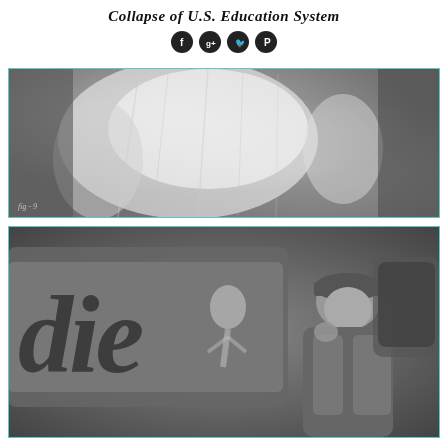Collapse of U.S. Education System
[Figure (photo): Black and white close-up photograph of a person in a white knit short-sleeve top, torso view. Small text 'fig - 9' visible in lower left corner.]
[Figure (photo): Black and white photograph of a young person (aviator) standing in front of an aircraft, with nose art showing partial text 'die' and a pin-up figure painted on the fuselage.]